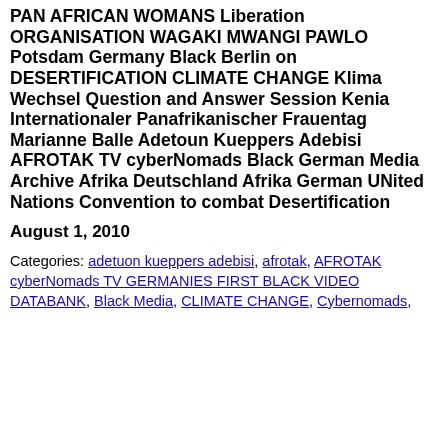PAN AFRICAN WOMANS Liberation ORGANISATION WAGAKI MWANGI PAWLO Potsdam Germany Black Berlin on DESERTIFICATION CLIMATE CHANGE Klima Wechsel Question and Answer Session Kenia Internationaler Panafrikanischer Frauentag Marianne Balle Adetoun Kueppers Adebisi AFROTAK TV cyberNomads Black German Media Archive Afrika Deutschland Afrika German UNited Nations Convention to combat Desertification
August 1, 2010
Categories: adetuon kueppers adebisi, afrotak, AFROTAK cyberNomads TV GERMANIES FIRST BLACK VIDEO DATABANK, Black Media, CLIMATE CHANGE, Cybernomads,